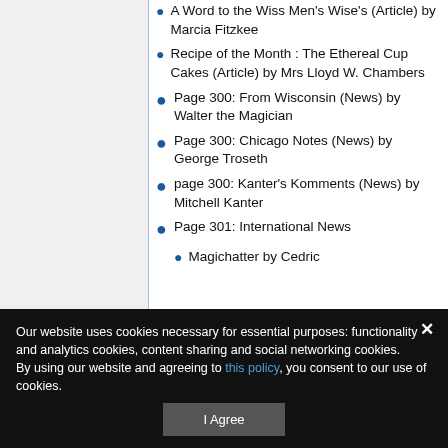A Word to the Wiss Men's Wise's (Article) by Marcia Fitzkee
Recipe of the Month : The Ethereal Cup Cakes (Article) by Mrs Lloyd W. Chambers
Page 300: From Wisconsin (News) by Walter the Magician
Page 300: Chicago Notes (News) by George Troseth
page 300: Kanter's Komments (News) by Mitchell Kanter
Page 301: International News
Magichatter by Cedric
Our website uses cookies necessary for essential purposes: functionality and analytics cookies, content sharing and social networking cookies.
By using our website and agreeing to this policy, you consent to our use of cookies.
I Agree